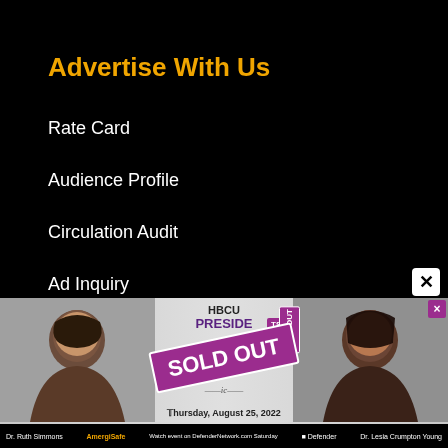Advertise With Us
Rate Card
Audience Profile
Circulation Audit
Ad Inquiry
Our Products
Newsletters
E-Editions
[Figure (photo): Advertisement banner for HBCU Presidents event featuring two women (Dr. Ruth Simmons and Dr. Lesia Crumpton Young) with a SOLD OUT overlay, TSU badge, and date Thursday, August 25, 2022. Ameris Bank and Defender logos visible. Close button (×) in top right corner.]